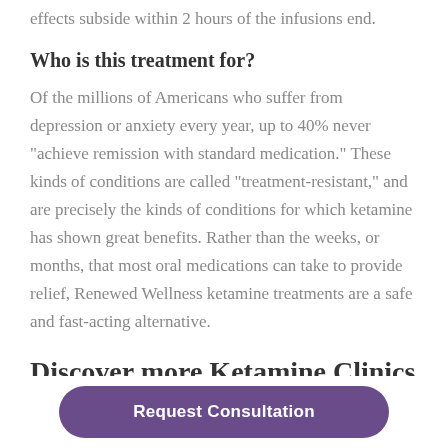effects subside within 2 hours of the infusions end.
Who is this treatment for?
Of the millions of Americans who suffer from depression or anxiety every year, up to 40% never "achieve remission with standard medication." These kinds of conditions are called "treatment-resistant," and are precisely the kinds of conditions for which ketamine has shown great benefits. Rather than the weeks, or months, that most oral medications can take to provide relief, Renewed Wellness ketamine treatments are a safe and fast-acting alternative.
Discover more Ketamine Clinics in North Dakota
Request Consultation